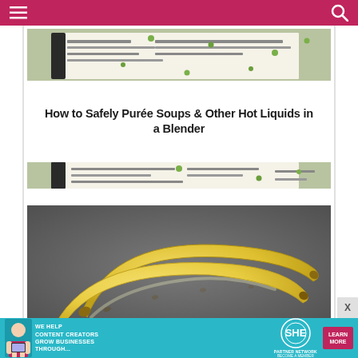Navigation header with hamburger menu and search icon
[Figure (photo): Recipe page card with top photo of a cookbook with green peas scattered on it, overlaid title text, and bottom photo continuation of the same cookbook scene]
How to Safely Purée Soups & Other Hot Liquids in a Blender
[Figure (photo): Photo of two yellow bananas on a dark gray surface]
[Figure (infographic): SHE Partner Network advertisement banner: WE HELP CONTENT CREATORS GROW BUSINESSES THROUGH... with LEARN MORE button]